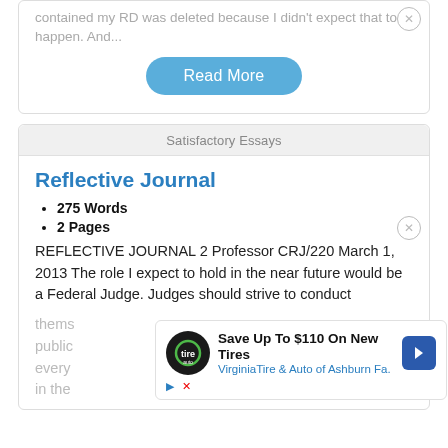contained my RD was deleted because I didn't expect that to happen. And...
Read More
Satisfactory Essays
Reflective Journal
275 Words
2 Pages
REFLECTIVE JOURNAL 2 Professor CRJ/220 March 1, 2013 The role I expect to hold in the near future would be a Federal Judge. Judges should strive to conduct
thems nce public ake every roach in the
[Figure (infographic): Advertisement overlay: Save Up To $110 On New Tires - Virginia Tire & Auto of Ashburn Fa. with logo and navigation arrow icon]